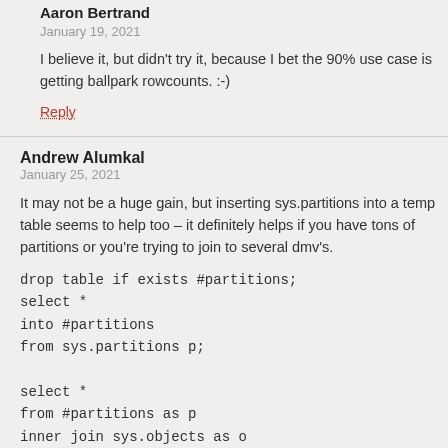Aaron Bertrand
January 19, 2021
I believe it, but didn't try it, because I bet the 90% use case is getting ballpark rowcounts. :-)
Reply
Andrew Alumkal
January 25, 2021
It may not be a huge gain, but inserting sys.partitions into a temp table seems to help too – it definitely helps if you have tons of partitions or you're trying to join to several dmv's.
drop table if exists #partitions;
select *
into #partitions
from sys.partitions p;

select *
from #partitions as p
inner join sys.objects as o
on p.object_id = o.object_id